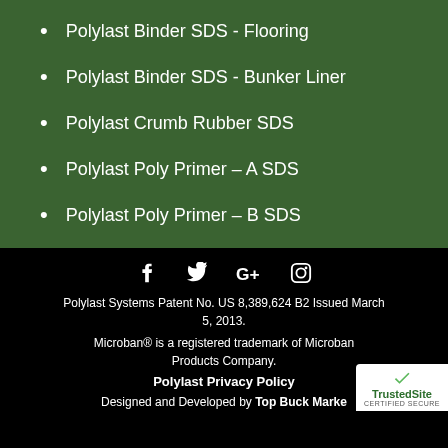Polylast Binder SDS - Flooring
Polylast Binder SDS - Bunker Liner
Polylast Crumb Rubber SDS
Polylast Poly Primer – A SDS
Polylast Poly Primer – B SDS
[Figure (infographic): Social media icons: Facebook, Twitter, Google+, Instagram in white on black background]
Polylast Systems Patent No. US 8,389,624 B2 Issued March 5, 2013.
Microban® is a registered trademark of Microban Products Company.
Polylast Privacy Policy
Designed and Developed by Top Buck Marketing
[Figure (logo): TrustedSite Certified Secure badge]